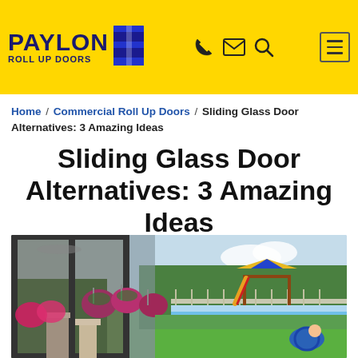PAYLON ROLL UP DOORS
Home / Commercial Roll Up Doors / Sliding Glass Door Alternatives: 3 Amazing Ideas
Sliding Glass Door Alternatives: 3 Amazing Ideas
[Figure (photo): A screened porch or sunroom with large sliding glass doors, potted hanging flowers (pink/magenta), a backyard pool visible in the background, and a wooden play structure with a colorful slide, surrounded by tall trees.]